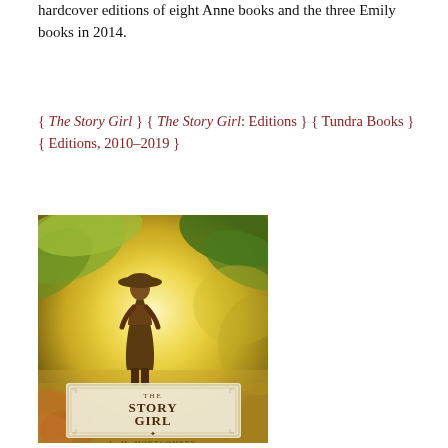hardcover editions of eight Anne books and the three Emily books in 2014.
{ The Story Girl } { The Story Girl: Editions } { Tundra Books } { Editions, 2010–2019 }
[Figure (illustration): Book cover of 'The Story Girl' by L. M. Montgomery published by Tundra Books. The cover shows a silhouette of a girl in a dress and wide-brimmed hat standing among yellow-green foliage with autumn leaves and golden bokeh background. At the bottom is a framed text area reading 'THE STORY GIRL' and 'L. M. MONTGOMERY'.]